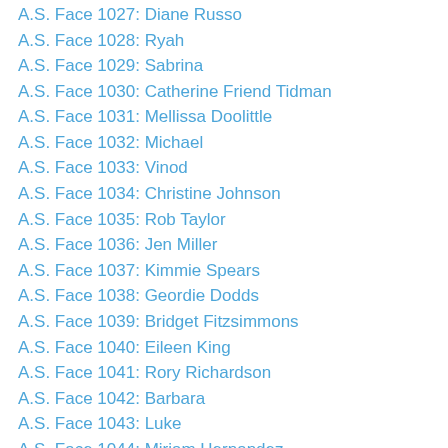A.S. Face 1027: Diane Russo
A.S. Face 1028: Ryah
A.S. Face 1029: Sabrina
A.S. Face 1030: Catherine Friend Tidman
A.S. Face 1031: Mellissa Doolittle
A.S. Face 1032: Michael
A.S. Face 1033: Vinod
A.S. Face 1034: Christine Johnson
A.S. Face 1035: Rob Taylor
A.S. Face 1036: Jen Miller
A.S. Face 1037: Kimmie Spears
A.S. Face 1038: Geordie Dodds
A.S. Face 1039: Bridget Fitzsimmons
A.S. Face 1040: Eileen King
A.S. Face 1041: Rory Richardson
A.S. Face 1042: Barbara
A.S. Face 1043: Luke
A.S. Face 1044: Miriam Hernandez
A.S. Face 1045: Cindy
A.S. Face 1046: Lidia